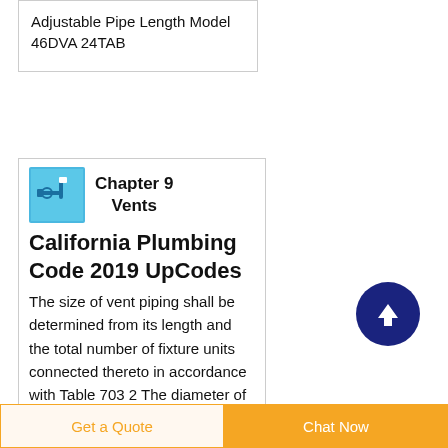Adjustable Pipe Length Model 46DVA 24TAB
Chapter 9 Vents
California Plumbing Code 2019 UpCodes
The size of vent piping shall be determined from its length and the total number of fixture units connected thereto in accordance with Table 703 2 The diameter of an individual vent shall be not less than 1 1 4 inches 32 mm nor less than one half the diameter of the
[Figure (illustration): Blue circular scroll-to-top button with white upward arrow]
Get a Quote
Chat Now